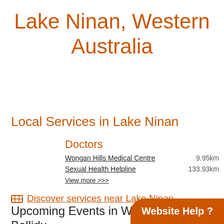Lake Ninan, Western Australia
Local Services in Lake Ninan
Doctors
Wongan Hills Medical Centre  9.95km
Sexual Health Helpline  133.93km
View more >>>
🗺 Discover services near Lake Ninan
Upcoming Events in Wongan-Ballidu
Website Help ?